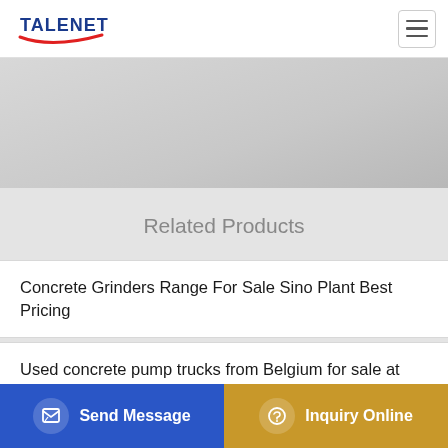TALENET
[Figure (screenshot): Website screenshot showing Talenet logo with red swoosh in header, hamburger menu icon top right, gray banner/hero image area]
Related Products
Concrete Grinders Range For Sale Sino Plant Best Pricing
Used concrete pump trucks from Belgium for sale at Truck1
nz concrete pumping and liquid screed floors services
8 4 Concrete Mixer Truck Zoomlion CIFA F2009 ZLJ5311GJB
Send Message | Inquiry Online